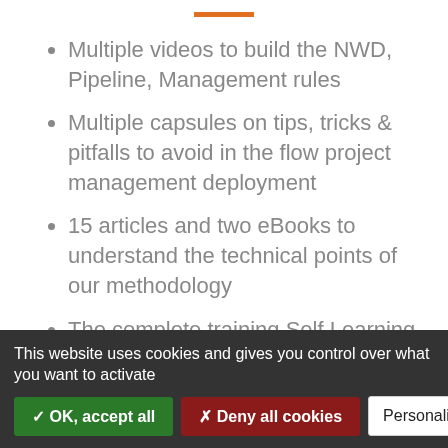Multiple videos to build the NWD, Pipeline, Management rules
Multiple capsules on tips, tricks & pitfalls to avoid in the flow project management deployment
15 articles and two eBooks to understand the technical points of our methodology
The complete training Self Learning
Videos of users interacting live on implementation, key points
This website uses cookies and gives you control over what you want to activate
✓ OK, accept all | ✗ Deny all cookies | Personalize